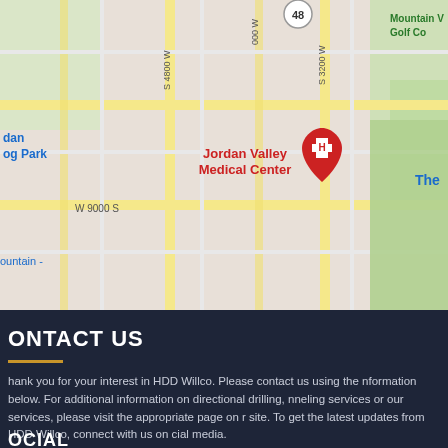[Figure (map): Google Maps screenshot showing Jordan Valley Medical Center area in West Jordan, Utah. Shows streets including W 8600 S, W 9000 S, S 4800 W, S 3200 W. A red hospital marker labeled 'Jordan Valley Medical Center' is visible. Text also shows Mountain View Golf Course and partial text 'The' on right edge.]
CONTACT US
Thank you for your interest in HDD Willco. Please contact us using the information below. For additional information on directional drilling, tunneling services or our services, please visit the appropriate page on our site. To get the latest updates from HDD Willco, connect with us on social media.
5621 Wells Park Rd, West Jordan, UT 84081
1-801-886-2111
SOCIAL